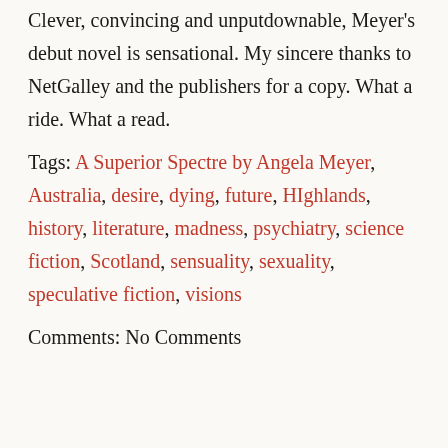Clever, convincing and unputdownable, Meyer's debut novel is sensational. My sincere thanks to NetGalley and the publishers for a copy. What a ride. What a read.
Tags: A Superior Spectre by Angela Meyer, Australia, desire, dying, future, HIghlands, history, literature, madness, psychiatry, science fiction, Scotland, sensuality, sexuality, speculative fiction, visions
Comments: No Comments